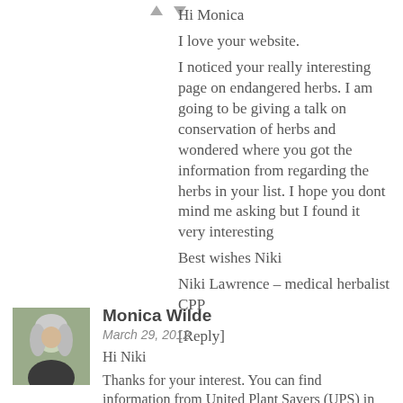Hi Monica
I love your website.
I noticed your really interesting page on endangered herbs. I am going to be giving a talk on conservation of herbs and wondered where you got the information from regarding the herbs in your list. I hope you dont mind me asking but I found it very interesting
Best wishes Niki
Niki Lawrence – medical herbalist CPP
[Reply]
[Figure (photo): Avatar photo of Monica Wilde, a woman with light gray/blonde hair]
Monica Wilde
March 29, 2012
Hi Niki
Thanks for your interest. You can find information from United Plant Savers (UPS) in the States, also the CITES lists for different